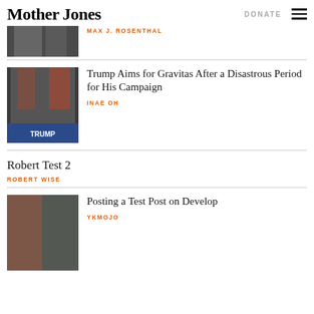Mother Jones | DONATE
MAX J. ROSENTHAL
Trump Aims for Gravitas After a Disastrous Period for His Campaign
INAE OH
Robert Test 2
ROBERT WISE
Posting a Test Post on Develop
YKMOJO